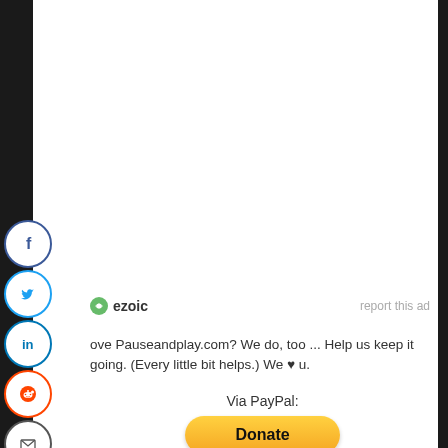[Figure (infographic): Social media share icons: Facebook (blue), Twitter (blue), LinkedIn (blue), Reddit (orange), Email (grey), each in circular button on left sidebar]
ezoic   report this ad
ove Pauseandplay.com? We do, too ... Help us keep it going. (Every little bit helps.) We ♥ u.
Via PayPal:
[Figure (other): Donate button (PayPal yellow/orange rounded rectangle button with bold 'Donate' text)]